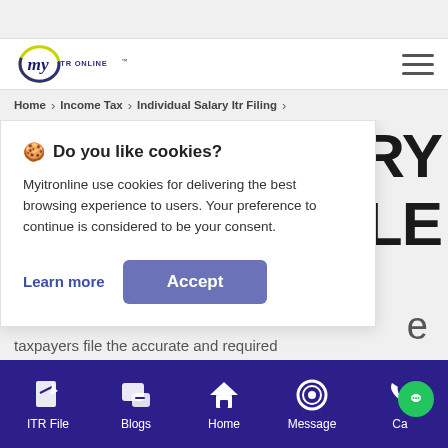[Figure (logo): myITRONLINE logo with stylized 'my' in italic and 'ITR ONLINE' in blue text with trademark symbol]
[Figure (other): Hamburger menu icon (three horizontal lines)]
Home > Income Tax > Individual Salary Itr Filing >
🍪 Do you like cookies?
Myitronline use cookies for delivering the best browsing experience to users. Your preference to continue is considered to be your consent.
Learn more
Accept
taxpayers file the accurate and required
ITR File   Blogs   Home   Message   Ca